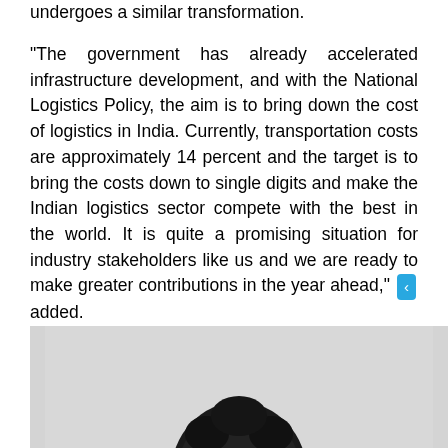undergoes a similar transformation.
“The government has already accelerated infrastructure development, and with the National Logistics Policy, the aim is to bring down the cost of logistics in India. Currently, transportation costs are approximately 14 percent and the target is to bring the costs down to single digits and make the Indian logistics sector compete with the best in the world. It is quite a promising situation for industry stakeholders like us and we are ready to make greater contributions in the year ahead,” added.
[Figure (photo): Photo of a person, top of head visible, dark hair, against a light background.]